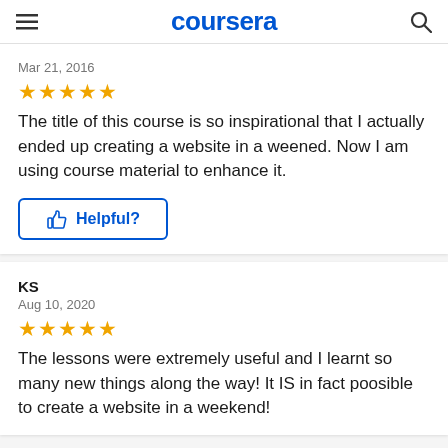coursera
Mar 21, 2016
★★★★★
The title of this course is so inspirational that I actually ended up creating a website in a weened. Now I am using course material to enhance it.
👍 Helpful?
KS
Aug 10, 2020
★★★★★
The lessons were extremely useful and I learnt so many new things along the way! It IS in fact poosible to create a website in a weekend!